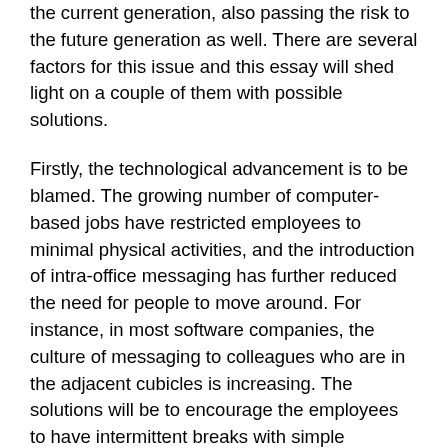the current generation, also passing the risk to the future generation as well. There are several factors for this issue and this essay will shed light on a couple of them with possible solutions.
Firstly, the technological advancement is to be blamed. The growing number of computer-based jobs have restricted employees to minimal physical activities, and the introduction of intra-office messaging has further reduced the need for people to move around. For instance, in most software companies, the culture of messaging to colleagues who are in the adjacent cubicles is increasing. The solutions will be to encourage the employees to have intermittent breaks with simple stretching exercises. Also, they could be encouraged to have more face-to-face communication, thereby, not just achieving a physical activity, but also workplace integration.